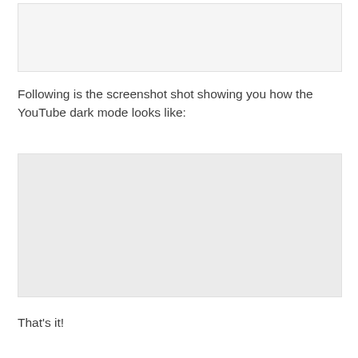[Figure (screenshot): Placeholder image area at the top of the page, light gray background]
Following is the screenshot shot showing you how the YouTube dark mode looks like:
[Figure (screenshot): Screenshot showing YouTube dark mode interface, rendered as a gray placeholder box]
That's it!